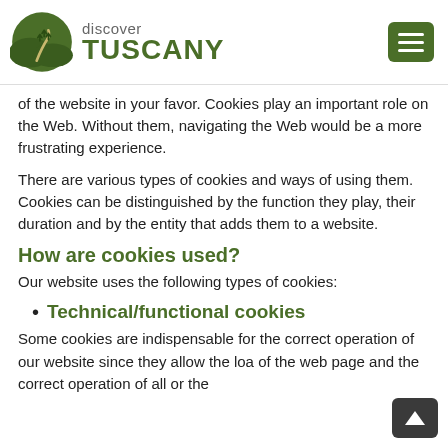discover TUSCANY
of the website in your favor. Cookies play an important role on the Web. Without them, navigating the Web would be a more frustrating experience.
There are various types of cookies and ways of using them. Cookies can be distinguished by the function they play, their duration and by the entity that adds them to a website.
How are cookies used?
Our website uses the following types of cookies:
Technical/functional cookies
Some cookies are indispensable for the correct operation of our website since they allow the loa of the web page and the correct operation of all or the